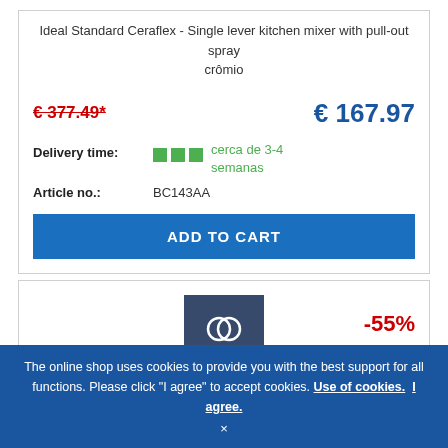Ideal Standard Ceraflex - Single lever kitchen mixer with pull-out spray crômio
€ 377.49*
€ 167.97
Delivery time: cerca de 3-4 semanas
Article no.: BC143AA
ADD TO CART
[Figure (logo): Ideal Standard logo on dark blue square background]
-55%
The online shop uses cookies to provide you with the best support for all functions. Please click "I agree" to accept cookies. Use of cookies. I agree.
×